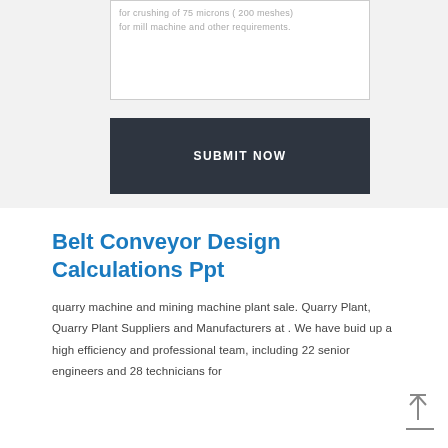for crushing of 75 microns ( 200 meshes) for mill machine and other requirements.
[Figure (other): Submit Now button with dark background]
Belt Conveyor Design Calculations Ppt
quarry machine and mining machine plant sale. Quarry Plant, Quarry Plant Suppliers and Manufacturers at . We have buid up a high efficiency and professional team, including 22 senior engineers and 28 technicians for